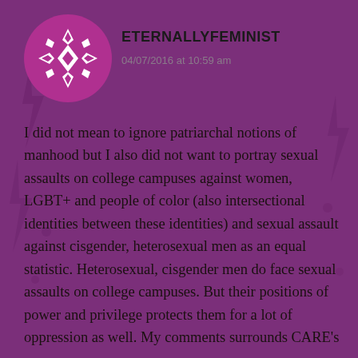[Figure (logo): Circular avatar with a dark pink/magenta geometric snowflake-like pattern on white circle background for user eternallyfeminist]
ETERNALLYFEMINIST
04/07/2016 at 10:59 am
I did not mean to ignore patriarchal notions of manhood but I also did not want to portray sexual assaults on college campuses against women, LGBT+ and people of color (also intersectional identities between these identities) and sexual assault against cisgender, heterosexual men as an equal statistic. Heterosexual, cisgender men do face sexual assaults on college campuses. But their positions of power and privilege protects them for a lot of oppression as well. My comments surrounds CARE's